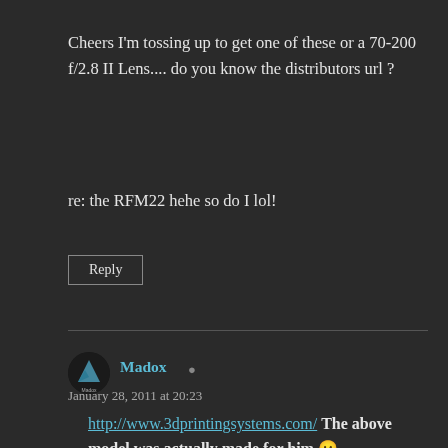Cheers I'm tossing up to get one of these or a 70-200 f/2.8 II Lens.... do you know the distributors url ?
re: the RFM22 hehe so do I lol!
Reply
Madox
January 28, 2011 at 20:23
http://www.3dprintingsystems.com/ The above model was actually made for him 😛